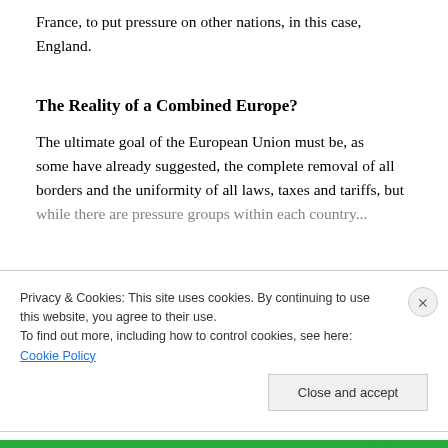France, to put pressure on other nations, in this case, England.
The Reality of a Combined Europe?
The ultimate goal of the European Union must be, as some have already suggested, the complete removal of all borders and the uniformity of all laws, taxes and tariffs, but while there are pressure groups within each country...
Privacy & Cookies: This site uses cookies. By continuing to use this website, you agree to their use.
To find out more, including how to control cookies, see here: Cookie Policy
Close and accept